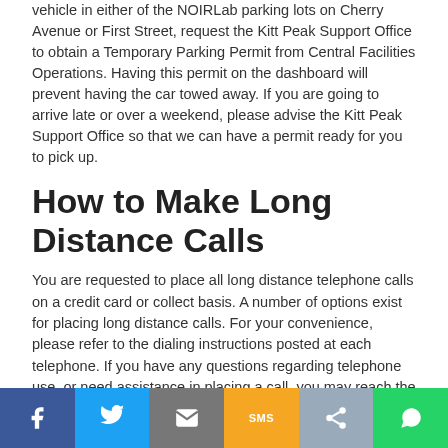vehicle in either of the NOIRLab parking lots on Cherry Avenue or First Street, request the Kitt Peak Support Office to obtain a Temporary Parking Permit from Central Facilities Operations. Having this permit on the dashboard will prevent having the car towed away. If you are going to arrive late or over a weekend, please advise the Kitt Peak Support Office so that we can have a permit ready for you to pick up.
How to Make Long Distance Calls
You are requested to place all long distance telephone calls on a credit card or collect basis. A number of options exist for placing long distance calls. For your convenience, please refer to the dialing instructions posted at each telephone. If you have any questions regarding telephone use, or need assistance in placing a call, you may reach the Kitt Peak or NOIRLab operator, during normal working hours, by dialing "0". In an emergency situation, please feel free to contact any employee. If you are having trouble placing a call, they will assist you.